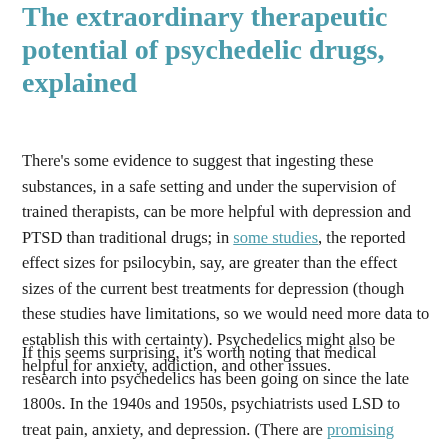The extraordinary therapeutic potential of psychedelic drugs, explained
There's some evidence to suggest that ingesting these substances, in a safe setting and under the supervision of trained therapists, can be more helpful with depression and PTSD than traditional drugs; in some studies, the reported effect sizes for psilocybin, say, are greater than the effect sizes of the current best treatments for depression (though these studies have limitations, so we would need more data to establish this with certainty). Psychedelics might also be helpful for anxiety, addiction, and other issues.
If this seems surprising, it's worth noting that medical research into psychedelics has been going on since the late 1800s. In the 1940s and 1950s, psychiatrists used LSD to treat pain, anxiety, and depression. (There are promising preliminary results from studies of LSD